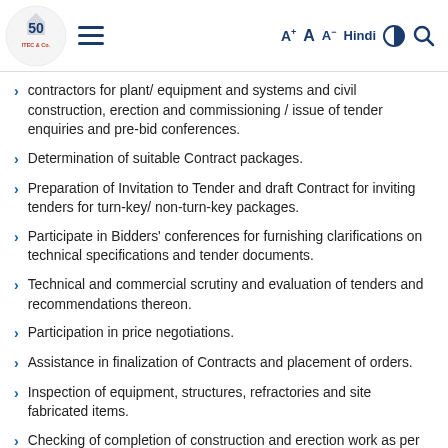A+ A A- Hindi [contrast] [search]
contractors for plant/ equipment and systems and civil construction, erection and commissioning / issue of tender enquiries and pre-bid conferences.
Determination of suitable Contract packages.
Preparation of Invitation to Tender and draft Contract for inviting tenders for turn-key/ non-turn-key packages.
Participate in Bidders' conferences for furnishing clarifications on technical specifications and tender documents.
Technical and commercial scrutiny and evaluation of tenders and recommendations thereon.
Participation in price negotiations.
Assistance in finalization of Contracts and placement of orders.
Inspection of equipment, structures, refractories and site fabricated items.
Checking of completion of construction and erection work as per the terms of the Contract including measurement and